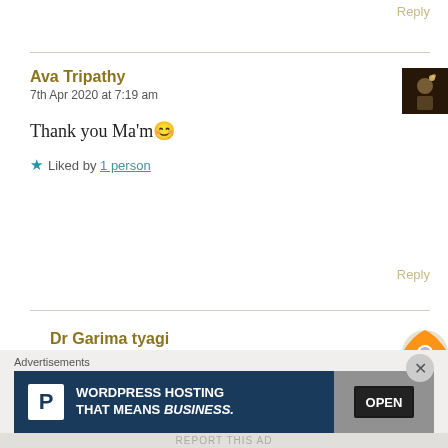Reply
Ava Tripathy
7th Apr 2020 at 7:19 am
[Figure (photo): Profile avatar thumbnail showing silhouette with dark background]
Thank you Ma'm 😊
★ Liked by 1 person
Reply
Dr Garima tyagi
7th Apr 2020 at 7:23 am
[Figure (photo): Profile avatar thumbnail showing circular design with green and orange]
Advertisements
[Figure (screenshot): WordPress hosting advertisement banner reading: WORDPRESS HOSTING THAT MEANS BUSINESS. with P logo and OPEN sign image]